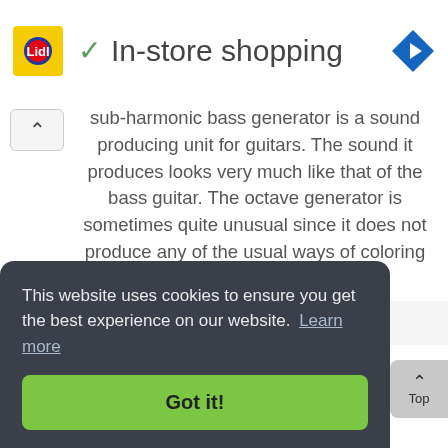[Figure (screenshot): Lidl logo — yellow rectangle with red/blue Lidl branding]
✓ In-store shopping
[Figure (logo): Blue diamond-shaped navigation/directions icon with white arrow]
sub-harmonic bass generator is a sound producing unit for guitars. The sound it produces looks very much like that of the bass guitar. The octave generator is sometimes quite unusual since it does not produce any of the usual ways of coloring the sound,...
This website uses cookies to ensure you get the best experience on our website. Learn more
Got it!